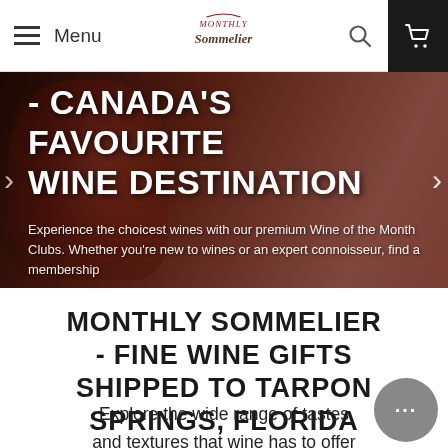Menu | Monthly Sommelier Logo | Search | Cart
[Figure (photo): Hero banner with dark wine/red background showing wine being poured into a glass]
- CANADA'S FAVOURITE WINE DESTINATION
Experience the choicest wines with our premium Wine of the Month Clubs. Whether you're new to wines or an expert connoisseur, find a membership
MONTHLY SOMMELIER - FINE WINE GIFTS SHIPPED TO TARPON SPRINGS, FLORIDA
Explore the wide range of tastes and textures that wine has to offer